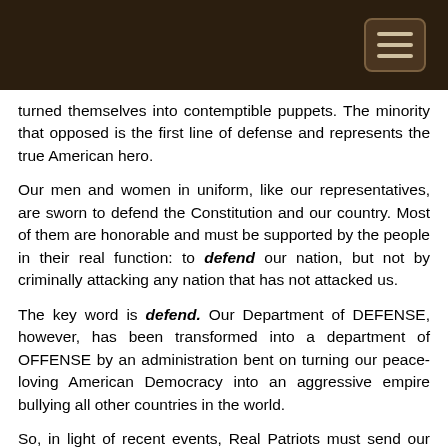turned themselves into contemptible puppets. The minority that opposed is the first line of defense and represents the true American hero.
Our men and women in uniform, like our representatives, are sworn to defend the Constitution and our country. Most of them are honorable and must be supported by the people in their real function: to defend our nation, but not by criminally attacking any nation that has not attacked us.
The key word is defend. Our Department of DEFENSE, however, has been transformed into a department of OFFENSE by an administration bent on turning our peace-loving American Democracy into an aggressive empire bullying all other countries in the world.
So, in light of recent events, Real Patriots must send our troops this truthful message: to obey a dictator who is